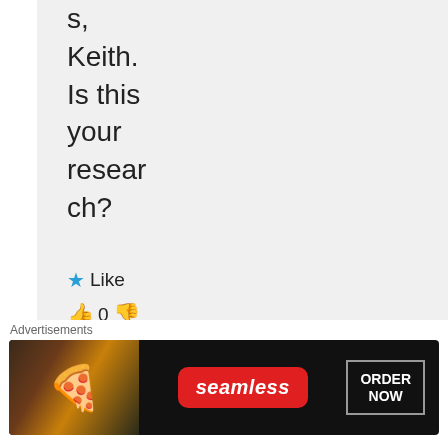s, Keith. Is this your research?
★ Like
👍 0 👎
0
ℹ Rate This
↪ Reply
Advertisements
[Figure (photo): Seamless food delivery advertisement banner showing pizza slices with Seamless logo and ORDER NOW button]